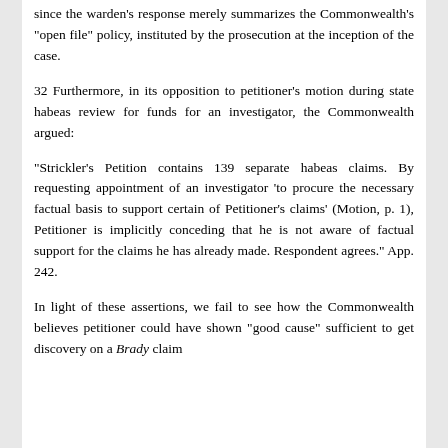since the warden's response merely summarizes the Commonwealth's "open file" policy, instituted by the prosecution at the inception of the case.
32 Furthermore, in its opposition to petitioner's motion during state habeas review for funds for an investigator, the Commonwealth argued:
"Strickler's Petition contains 139 separate habeas claims. By requesting appointment of an investigator 'to procure the necessary factual basis to support certain of Petitioner's claims' (Motion, p. 1), Petitioner is implicitly conceding that he is not aware of factual support for the claims he has already made. Respondent agrees." App. 242.
In light of these assertions, we fail to see how the Commonwealth believes petitioner could have shown "good cause" sufficient to get discovery on a Brady claim